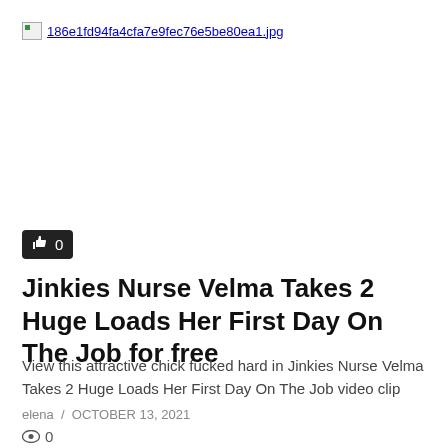[Figure (photo): Broken image placeholder showing filename 186e1fd94fa4cfa7e9fec76e5be80ea1.jpg as a link]
👍 0
Jinkies Nurse Velma Takes 2 Huge Loads Her First Day On The Job for free
View this attractive chick fucked hard in Jinkies Nurse Velma Takes 2 Huge Loads Her First Day On The Job video clip
elena  /  OCTOBER 13, 2021
👁 0